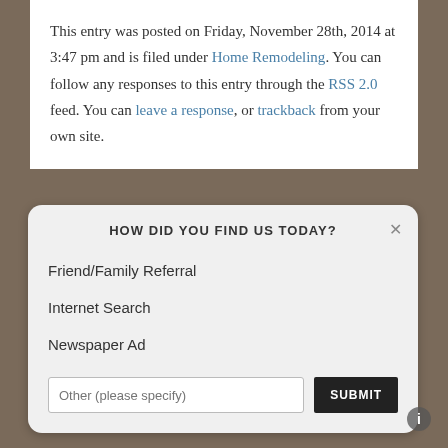This entry was posted on Friday, November 28th, 2014 at 3:47 pm and is filed under Home Remodeling. You can follow any responses to this entry through the RSS 2.0 feed. You can leave a response, or trackback from your own site.
HOW DID YOU FIND US TODAY?
Friend/Family Referral
Internet Search
Newspaper Ad